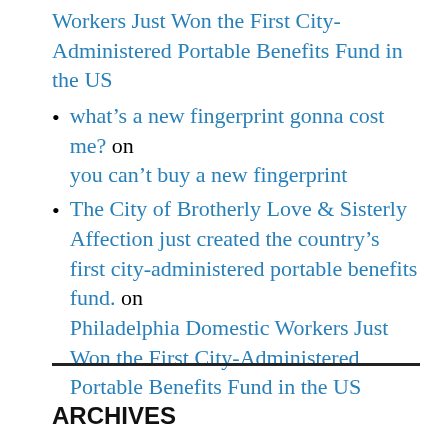Workers Just Won the First City-Administered Portable Benefits Fund in the US
what's a new fingerprint gonna cost me? on you can't buy a new fingerprint
The City of Brotherly Love & Sisterly Affection just created the country's first city-administered portable benefits fund. on Philadelphia Domestic Workers Just Won the First City-Administered Portable Benefits Fund in the US
ARCHIVES